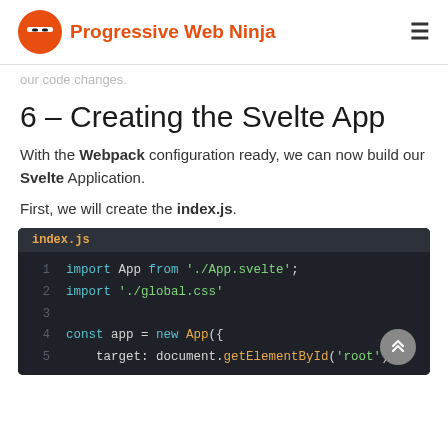Progressive Web Ninja
our code changes.
6 – Creating the Svelte App
With the Webpack configuration ready, we can now build our Svelte Application.
First, we will create the index.js.
[Figure (screenshot): Code editor screenshot showing index.js file with syntax-highlighted JavaScript code including: import App from './App.svelte'; import './global.css'; const app = new App({ target: document.getElementById('root')]